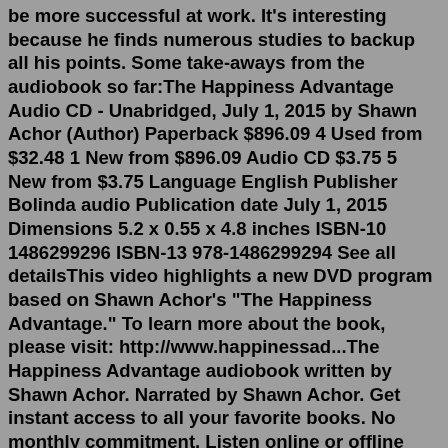be more successful at work. It's interesting because he finds numerous studies to backup all his points. Some take-aways from the audiobook so far:The Happiness Advantage Audio CD - Unabridged, July 1, 2015 by Shawn Achor (Author) Paperback $896.09 4 Used from $32.48 1 New from $896.09 Audio CD $3.75 5 New from $3.75 Language English Publisher Bolinda audio Publication date July 1, 2015 Dimensions 5.2 x 0.55 x 4.8 inches ISBN-10 1486299296 ISBN-13 978-1486299294 See all detailsThis video highlights a new DVD program based on Shawn Achor's "The Happiness Advantage." To learn more about the book, please visit: http://www.happinessad...The Happiness Advantage audiobook written by Shawn Achor. Narrated by Shawn Achor. Get instant access to all your favorite books. No monthly commitment. Listen online or offline with Android, iOS, web, Chromecast, and Google Assistant. Try Google Play Audiobooks today! In The Happiness Advantage, Shawn Achor, who spent over a decade living, researching, and lecturing at Harvard University,